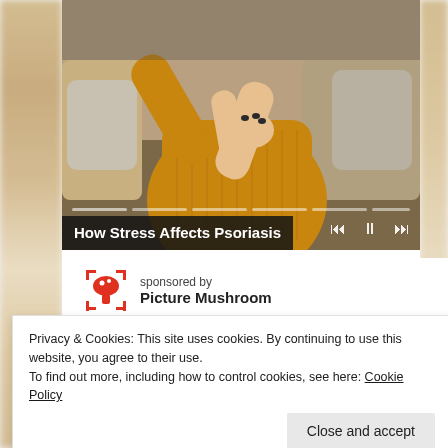[Figure (photo): A woman in a yellow/mustard sweater sitting on a couch, scratching or holding her arm (related to psoriasis), with a video player interface overlay showing progress segments and playback controls.]
How Stress Affects Psoriasis
sponsored by
Picture Mushroom
Privacy & Cookies: This site uses cookies. By continuing to use this website, you agree to their use.
To find out more, including how to control cookies, see here: Cookie Policy